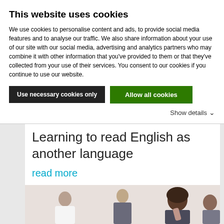This website uses cookies
We use cookies to personalise content and ads, to provide social media features and to analyse our traffic. We also share information about your use of our site with our social media, advertising and analytics partners who may combine it with other information that you've provided to them or that they've collected from your use of their services. You consent to our cookies if you continue to use our website.
Use necessary cookies only
Allow all cookies
Show details
Learning to read English as another language
read more
[Figure (photo): Students sitting at desks, one with head in hands, in a classroom setting]